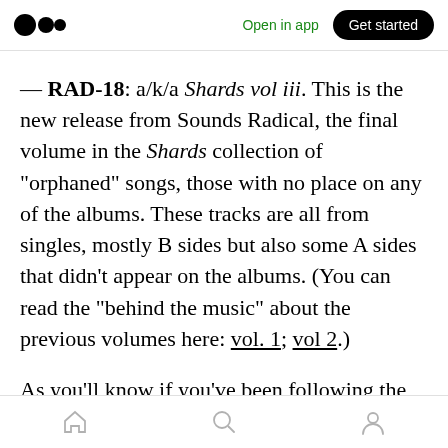Medium logo | Open in app | Get started
— RAD-18: a/k/a Shards vol iii. This is the new release from Sounds Radical, the final volume in the Shards collection of “orphaned” songs, those with no place on any of the albums. These tracks are all from singles, mostly B sides but also some A sides that didn’t appear on the albums. (You can read the “behind the music” about the previous volumes here: vol. 1; vol 2.)
As you’ll know if you’ve been following the 2021 vinyl pressing saga with regard to this release,
Home | Search | Profile